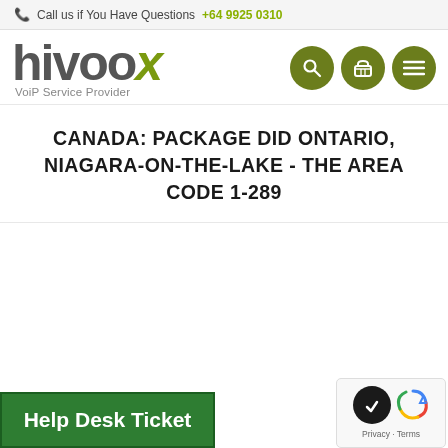Call us if You Have Questions +64 9925 0310
[Figure (logo): Hivoox logo with green X accent and 'VoiP Service Provider' tagline, plus navigation icons (search, cart, menu) as dark olive circles]
CANADA: PACKAGE DID ONTARIO, NIAGARA-ON-THE-LAKE - THE AREA CODE 1-289
[Figure (other): Help Desk Ticket green button at bottom left, and reCAPTCHA badge with Privacy and Terms links at bottom right]